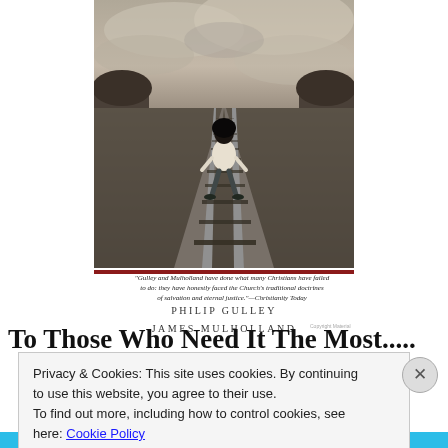[Figure (photo): Book cover showing a child standing on railroad tracks from behind, sepia-toned, with dramatic sky. Authors: Philip Gulley and James Mulholland.]
"Gulley and Mulholland have done what many Christians have failed to do: they have honestly faced the Church's traditional doctrines of salvation and eternal justice." —Christianity Today
PHILIP GULLEY
JAMES MULHOLLAND
To Those Who Need It The Most.....
Privacy & Cookies: This site uses cookies. By continuing to use this website, you agree to their use.
To find out more, including how to control cookies, see here: Cookie Policy
Close and accept